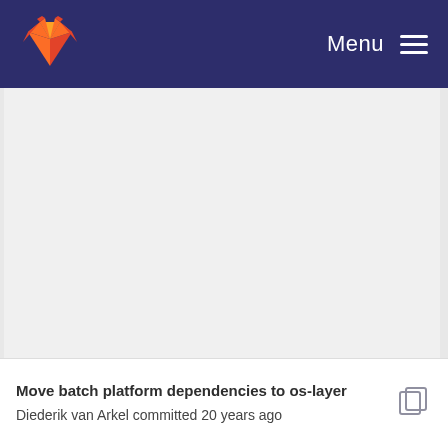Menu
[Figure (other): Large blank/empty content area with light gray background]
Move batch platform dependencies to os-layer
Diederik van Arkel committed 20 years ago